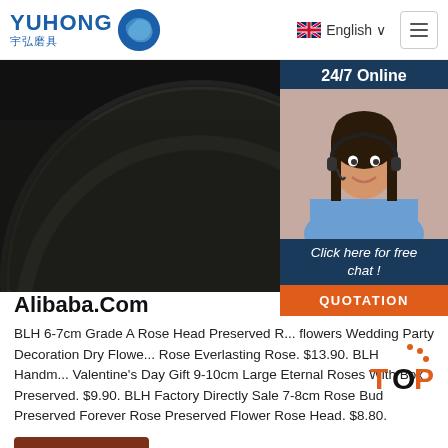YUHONG 宇弘磨具 | English | Menu
[Figure (photo): Close-up photo of a dark abrasive grinding/cutting disc with blue and red label visible at top, on a dark background]
[Figure (photo): 24/7 Online customer service popup showing a woman with headset smiling, with 'Click here for free chat!' text and QUOTATION orange button]
Alibaba.Com
BLH 6-7cm Grade A Rose Head Preserved R... flowers Wedding Party Decoration Dry Flowe... Rose Everlasting Rose. $13.90. BLH Handm... Valentine's Day Gift 9-10cm Large Eternal Roses With Box Preserved. $9.90. BLH Factory Directly Sale 7-8cm Rose Bud Preserved Forever Rose Preserved Flower Rose Head. $8.80.
[Figure (other): TOP button with orange dots above, orange T and P letters with black O in between]
Get Price